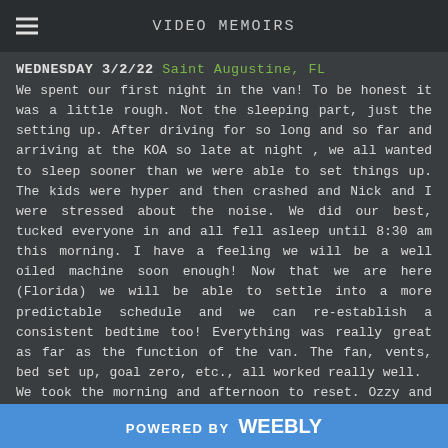VIDEO MEMOIRS
WEDNESDAY 3/2/22 Saint Augustine, FL
We spent our first night in the van! To be honest it was a little rough. Not the sleeping part, just the setting up. After driving for so long and so far and arriving at the KOA so late at night , we all wanted to sleep sooner than we were able to set things up. The kids were hyper and then crashed and Nick and I were stressed about the noise. We did our best, tucked everyone in and all fell asleep until 8:30 am this morning. I have a feeling we will be a well oiled machine soon enough! Now that we are here (Florida) we will be able to settle into a more predictable schedule and we can re-establish a consistent bedtime too! Everything was really great as far as the function of the van. The fan, vents, bed set up, goal zero, etc., all worked really well.
We took the morning and afternoon to reset. Ozzy and Fitz rode their bikes and played in the sand while Nick and I organized and reconfigured a few things in the van. We
POWERED BY weebly